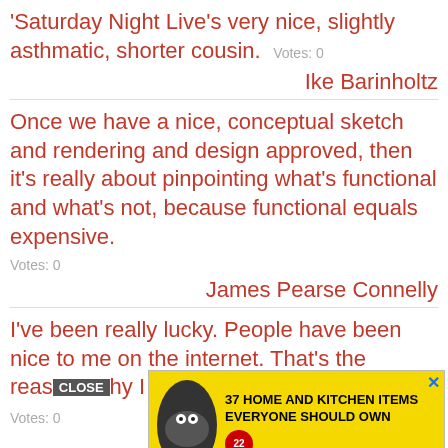'Saturday Night Live's very nice, slightly asthmatic, shorter cousin.  Votes: 0
Ike Barinholtz
Once we have a nice, conceptual sketch and rendering and design approved, then it's really about pinpointing what's functional and what's not, because functional equals expensive.  Votes: 0
James Pearse Connelly
I've been really lucky. People have been nice to me on the internet. That's the reason why I could [ad overlay] e.  Votes: 0
Erika M. Anderson
[Figure (screenshot): Advertisement banner overlay showing '37 HOME AND KITCHEN ITEMS EVERYONE SHOULD OWN' with a yellow background and a CLOSE button]